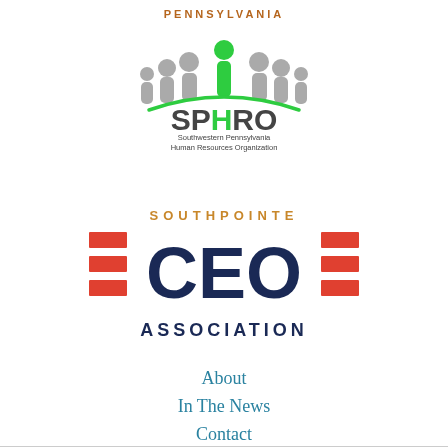PENNSYLVANIA
[Figure (logo): SPHRO logo - Southwestern Pennsylvania Human Resources Organization with stylized people figures in grey and green arc]
[Figure (logo): Southpointe CEO Association logo with red rectangular bars flanking bold dark navy CEO text and SOUTHPOINTE in gold above and ASSOCIATION in dark navy below]
About
In The News
Contact